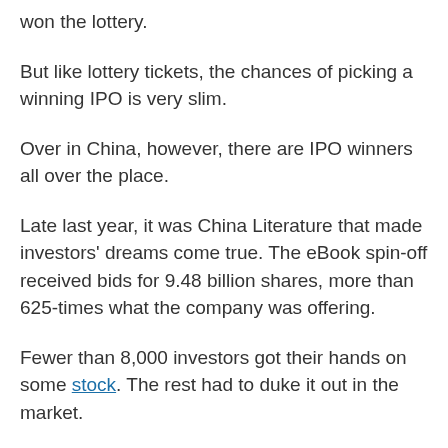won the lottery.
But like lottery tickets, the chances of picking a winning IPO is very slim.
Over in China, however, there are IPO winners all over the place.
Late last year, it was China Literature that made investors' dreams come true. The eBook spin-off received bids for 9.48 billion shares, more than 625-times what the company was offering.
Fewer than 8,000 investors got their hands on some stock. The rest had to duke it out in the market.
On its first day of trading, China Literature doubled.
Investors' enthusiasm broke the record previously held by ZhongAn Online Property & Casualty Insurance. Investors bought 391-times more stock than ZhongAn